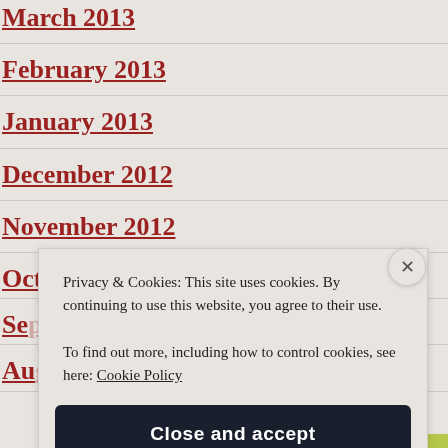March 2013
February 2013
January 2013
December 2012
November 2012
October 2012
Se...
Au...
Privacy & Cookies: This site uses cookies. By continuing to use this website, you agree to their use. To find out more, including how to control cookies, see here: Cookie Policy
Close and accept